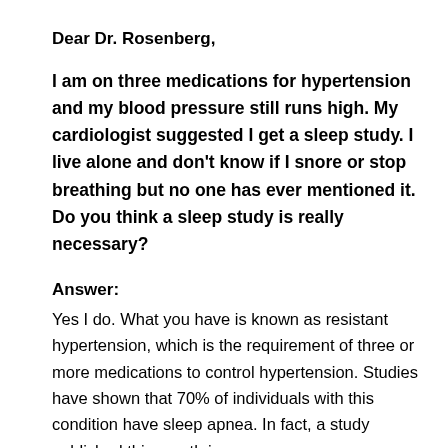Dear Dr. Rosenberg,
I am on three medications for hypertension and my blood pressure still runs high. My cardiologist suggested I get a sleep study. I live alone and don't know if I snore or stop breathing but no one has ever mentioned it. Do you think a sleep study is really necessary?
Answer:
Yes I do. What you have is known as resistant hypertension, which is the requirement of three or more medications to control hypertension. Studies have shown that 70% of individuals with this condition have sleep apnea. In fact, a study published this month in